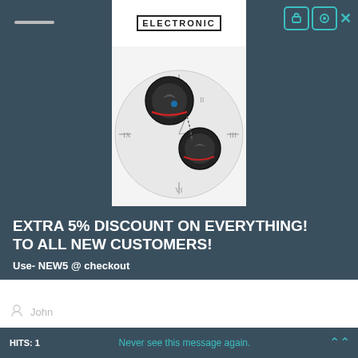[Figure (logo): ELECTRONIC text logo in bordered box]
[Figure (photo): Two black wireless earbuds (Under Armour branded) overlaid on a clock face background]
EXTRA 5% DISCOUNT ON EVERYTHING! TO ALL NEW CUSTOMERS!
Use- NEW5 @ checkout
John
Smith
johnsmith@example.com
HITS: 1
Never see this message again.